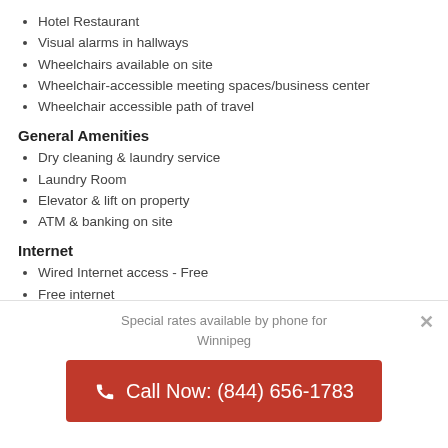Hotel Restaurant
Visual alarms in hallways
Wheelchairs available on site
Wheelchair-accessible meeting spaces/business center
Wheelchair accessible path of travel
General Amenities
Dry cleaning & laundry service
Laundry Room
Elevator & lift on property
ATM & banking on site
Internet
Wired Internet access - Free
Free internet
Lobby Level Services
Free news papers in lobby
Fireplace in lobby
Luggage storage facilities
Express check out
Bellhop & Porter service
Special rates available by phone for Winnipeg
Call Now: (844) 656-1783